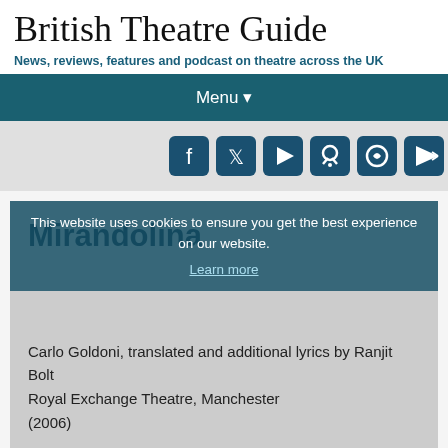British Theatre Guide
News, reviews, features and podcast on theatre across the UK
Menu ▾
[Figure (infographic): Social media icons: Facebook, Twitter, YouTube, Podcast, Spotify, Google Play]
This website uses cookies to ensure you get the best experience on our website.
Learn more
Mirandolina
Carlo Goldoni, translated and additional lyrics by Ranjit Bolt
Royal Exchange Theatre, Manchester
(2006)